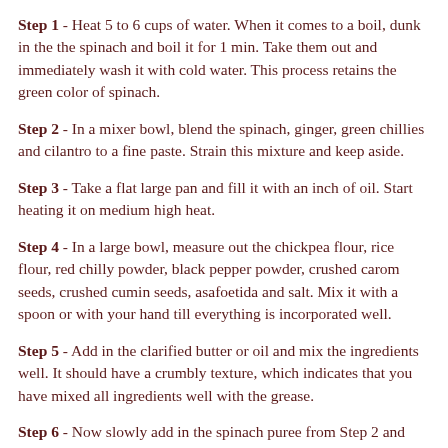Step 1 - Heat 5 to 6 cups of water. When it comes to a boil, dunk in the the spinach and boil it for 1 min. Take them out and immediately wash it with cold water. This process retains the green color of spinach.
Step 2 - In a mixer bowl, blend the spinach, ginger, green chillies and cilantro to a fine paste. Strain this mixture and keep aside.
Step 3 - Take a flat large pan and fill it with an inch of oil. Start heating it on medium high heat.
Step 4 - In a large bowl, measure out the chickpea flour, rice flour, red chilly powder, black pepper powder, crushed carom seeds, crushed cumin seeds, asafoetida and salt. Mix it with a spoon or with your hand till everything is incorporated well.
Step 5 - Add in the clarified butter or oil and mix the ingredients well. It should have a crumbly texture, which indicates that you have mixed all ingredients well with the grease.
Step 6 - Now slowly add in the spinach puree from Step 2 and